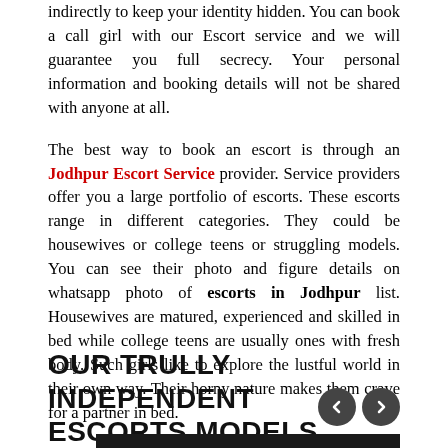indirectly to keep your identity hidden. You can book a call girl with our Escort service and we will guarantee you full secrecy. Your personal information and booking details will not be shared with anyone at all.
The best way to book an escort is through an Jodhpur Escort Service provider. Service providers offer you a large portfolio of escorts. These escorts range in different categories. They could be housewives or college teens or struggling models. You can see their photo and figure details on whatsapp photo of escorts in Jodhpur list. Housewives are matured, experienced and skilled in bed while college teens are usually ones with fresh body. Such girls like to explore the lustful world in their own way. Their horny nature makes them crave for a partner in bed.
OUR TRULLY INDEPENDENT ESCORTS MODELS
[Figure (photo): Partial photo visible at the bottom of the page, dark background]